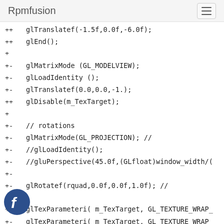Rpmfusion
++ glTranslatef(-1.5f,0.0f,-6.0f);
++ glEnd();
+
+- glMatrixMode (GL_MODELVIEW);
+- glLoadIdentity ();
+- glTranslatef(0.0,0.0,-1.);
++ glDisable(m_TexTarget);
+
+- // rotations
+- glMatrixMode(GL_PROJECTION); //
+- //glLoadIdentity();
+- //gluPerspective(45.0f,(GLfloat)window_width/(
+-
+- glRotatef(rquad,0.0f,0.0f,1.0f); //
+-
+- glTexParameteri( m_TexTarget, GL_TEXTURE_WRAP_
+- glTexParameteri( m_TexTarget, GL_TEXTURE_WRAP_
+- glTexParameteri( m_TexTarget, GL_MAG_F